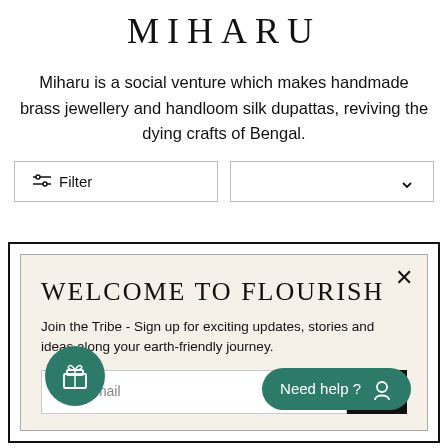MIHARU
Miharu is a social venture which makes handmade brass jewellery and handloom silk dupattas, reviving the dying crafts of Bengal.
[Figure (screenshot): Filter and sort controls row with two bordered buttons]
[Figure (screenshot): Modal popup with beige background titled WELCOME TO FLOURISH, containing sign-up text, email input field, submit arrow button, gift icon bubble, and Need help? chat bubble]